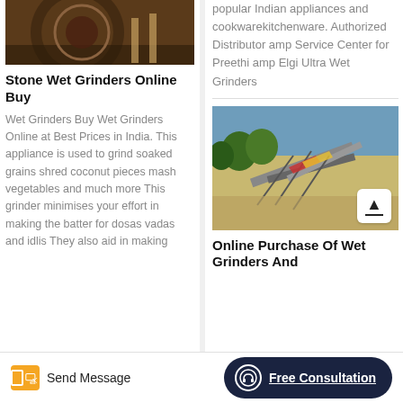[Figure (photo): Close-up photo of industrial grinder machinery, brownish metal surfaces]
Stone Wet Grinders Online Buy
Wet Grinders Buy Wet Grinders Online at Best Prices in India. This appliance is used to grind soaked grains shred coconut pieces mash vegetables and much more This grinder minimises your effort in making the batter for dosas vadas and idlis They also aid in making
popular Indian appliances and cookwarekitchenware. Authorized Distributor amp Service Center for Preethi amp Elgi Ultra Wet Grinders
[Figure (photo): Outdoor industrial equipment, conveyor belts and machinery at a quarry or mining site]
Online Purchase Of Wet Grinders And
Send Message
Free Consultation